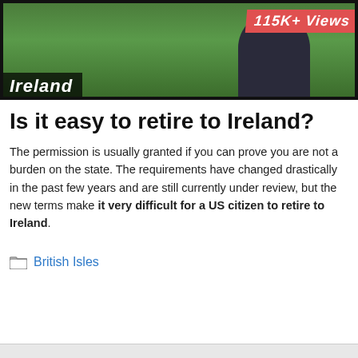[Figure (screenshot): Thumbnail image showing 'Ireland' text overlay on left in bold italic white on dark background, '115K+ Views' text overlay on right in bold italic white on red background, with a person figure visible and green outdoor background. Black border around image.]
Is it easy to retire to Ireland?
The permission is usually granted if you can prove you are not a burden on the state. The requirements have changed drastically in the past few years and are still currently under review, but the new terms make it very difficult for a US citizen to retire to Ireland.
British Isles